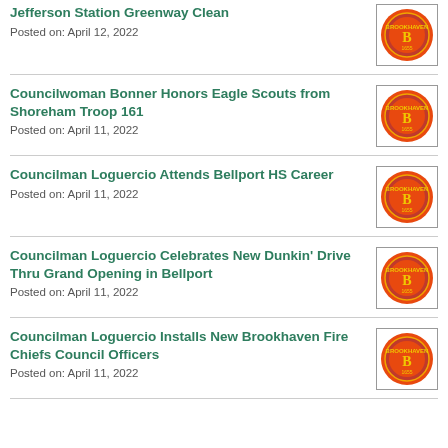Jefferson Station Greenway Clean
Posted on: April 12, 2022
Councilwoman Bonner Honors Eagle Scouts from Shoreham Troop 161
Posted on: April 11, 2022
Councilman Loguercio Attends Bellport HS Career
Posted on: April 11, 2022
Councilman Loguercio Celebrates New Dunkin' Drive Thru Grand Opening in Bellport
Posted on: April 11, 2022
Councilman Loguercio Installs New Brookhaven Fire Chiefs Council Officers
Posted on: April 11, 2022